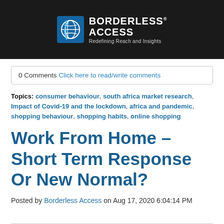[Figure (logo): Borderless Access logo with blue globe icon and white text on dark background. Tagline: Redefining Reach and Insights]
0 Comments Click here to read/write comments
Topics: consumer behaviour, south africa market research, Impact of Covid-19 and the lockdown, africa and pandemic, shopping behaviour, shopping habits, online shopping
Work From Home – Short Term Response Or New Normal?
Posted by Borderless Access on Aug 17, 2020 6:04:14 PM